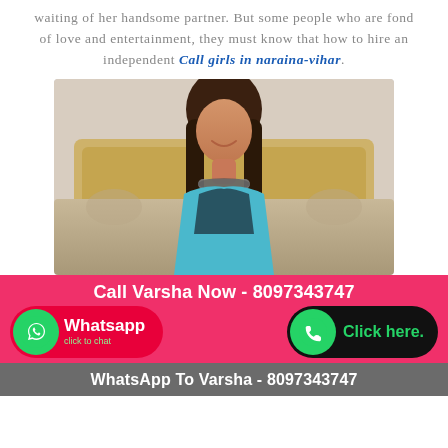waiting of her handsome partner. But some people who are fond of love and entertainment, they must know that how to hire an independent Call girls in naraina-vihar.
[Figure (photo): A young woman wearing teal lingerie and a statement necklace, seated on a sofa, smiling. Promotional image for escort service.]
Call Varsha Now - 8097343747
[Figure (infographic): WhatsApp button with green icon and red background labeled 'Whatsapp click to chat']
[Figure (infographic): Phone/Call button with green icon and black background labeled 'Click here.']
WhatsApp To Varsha - 8097343747